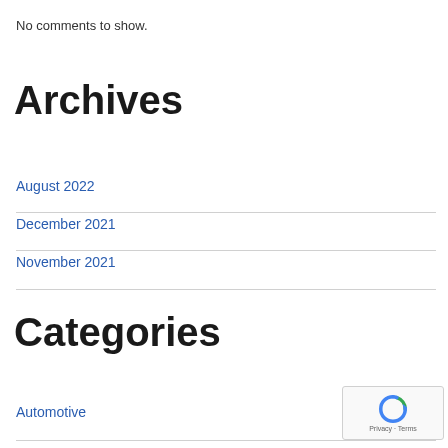No comments to show.
Archives
August 2022
December 2021
November 2021
Categories
Automotive